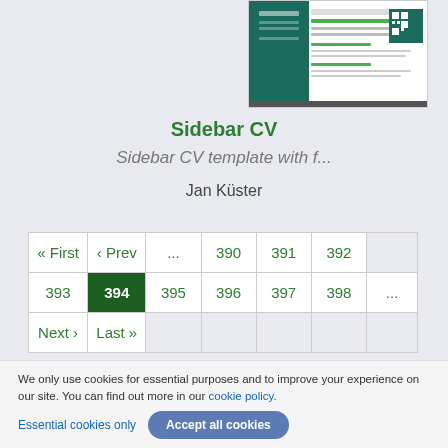[Figure (screenshot): Thumbnail preview of the Sidebar CV template document]
Sidebar CV
Sidebar CV template with f...
Jan Küster
| « First | ‹ Prev | ... | 390 | 391 | 392 |  |
| 393 | 394 | 395 | 396 | 397 | 398 | ... |
| Next › | Last » |  |  |  |  |  |
We only use cookies for essential purposes and to improve your experience on our site. You can find out more in our cookie policy.
Essential cookies only
Accept all cookies